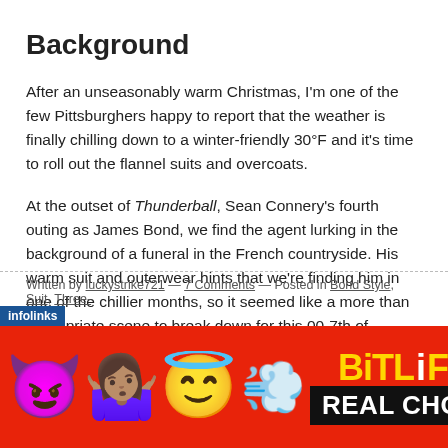Background
After an unseasonably warm Christmas, I'm one of the few Pittsburghers happy to report that the weather is finally chilling down to a winter-friendly 30°F and it's time to roll out the flannel suits and overcoats.
At the outset of Thunderball, Sean Connery's fourth outing as James Bond, we find the agent lurking in the background of a funeral in the French countryside. His warm suit and outerwear hints that we're finding him in one of the chillier months, so it seemed like a more than appropriate scene to break down for this 00-7th of January. Continue reading →
Written by luckystrike721 — 7 Comments — Posted in Bond Style, Suit, Three-infolinks What to Wear to the Office — Tagged with 1960s, 3 Piece Suit, B...
[Figure (other): BitLife advertisement banner with emoji characters (devil, person shrugging, angel) on red background with 'BitLife REAL CHOICES' text]